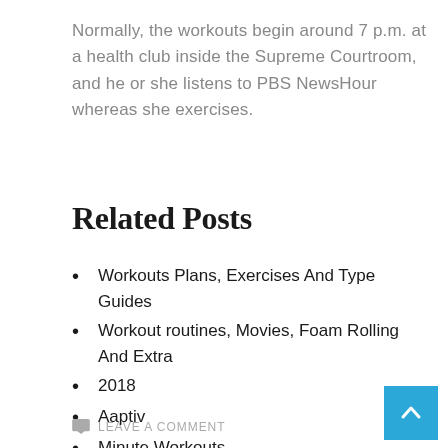Normally, the workouts begin around 7 p.m. at a health club inside the Supreme Courtroom, and he or she listens to PBS NewsHour whereas she exercises.
Related Posts
Workouts Plans, Exercises And Type Guides
Workout routines, Movies, Foam Rolling And Extra
2018
Aaptiv
Minute Workouts
LEAVE A COMMENT